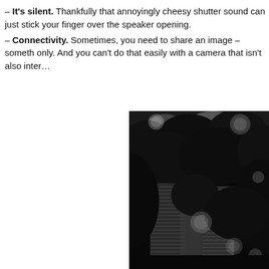– It's silent. Thankfully that annoyingly cheesy shutter sound can just stick your finger over the speaker opening.
– Connectivity. Sometimes, you need to share an image – something only. And you can't do that easily with a camera that isn't also inter…
[Figure (photo): Black and white photograph of tall buildings (skyscrapers) viewed from below through dense tree canopy with bokeh light orbs scattered throughout the image]